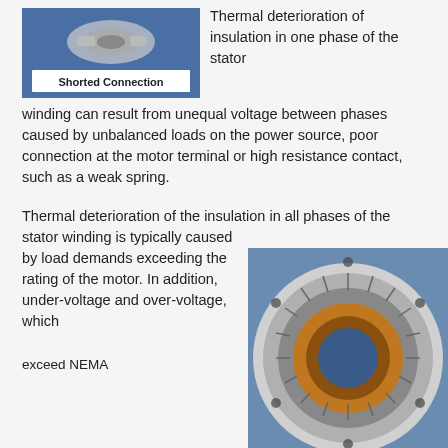[Figure (photo): Photo of a shorted connection component labeled 'Shorted Connection' with a blue background]
Thermal deterioration of insulation in one phase of the stator winding can result from unequal voltage between phases caused by unbalanced loads on the power source, poor connection at the motor terminal or high resistance contact, such as a weak spring.
Thermal deterioration of the insulation in all phases of the stator winding is typically caused by load demands exceeding the rating of the motor. In addition, under-voltage and over-voltage, which exceed NEMA
[Figure (photo): Photo of a stator winding showing copper coils wrapped around a circular stator core, viewed from the front]